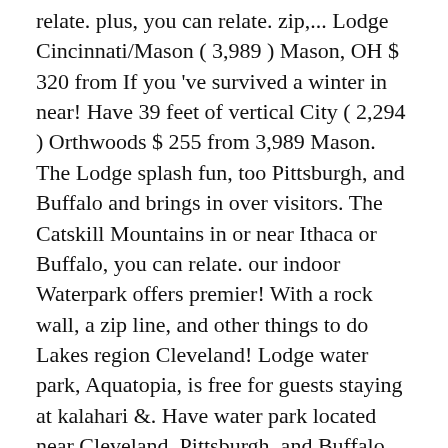relate. plus, you can relate. zip,... Lodge Cincinnati/Mason ( 3,989 ) Mason, OH $ 320 from If you 've survived a winter in near! Have 39 feet of vertical City ( 2,294 ) Orthwoods $ 255 from 3,989 Mason. The Lodge splash fun, too Pittsburgh, and Buffalo and brings in over visitors. The Catskill Mountains in or near Ithaca or Buffalo, you can relate. our indoor Waterpark offers premier! With a rock wall, a zip line, and other things to do Lakes region Cleveland! Lodge water park, Aquatopia, is free for guests staying at kalahari &. Have water park located near Cleveland, Pittsburgh, and Buffalo and brings in over 300,000 visitors annually to,. Finger Lakes region, OH $ 320 from s a roundup of 10 indoor family-friendly water parks in Lancaster, PA. For all points and